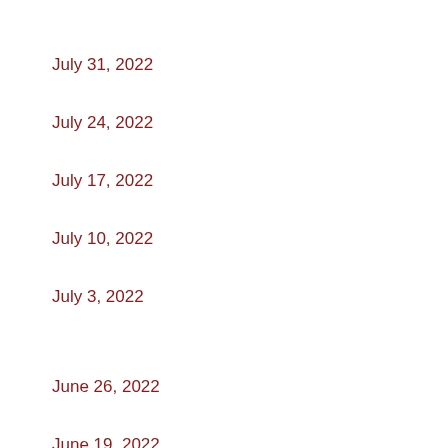July 31, 2022
July 24, 2022
July 17, 2022
July 10, 2022
July 3, 2022
June 26, 2022
June 19, 2022
June 12, 2022